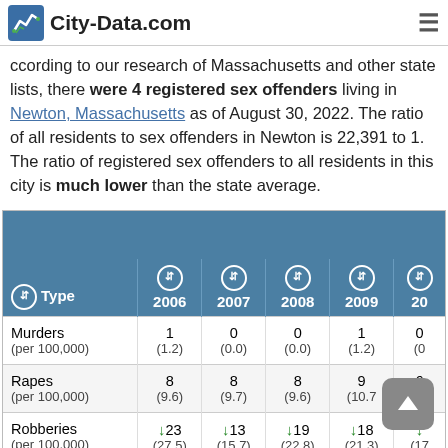City-Data.com
According to our research of Massachusetts and other state lists, there were 4 registered sex offenders living in Newton, Massachusetts as of August 30, 2022. The ratio of all residents to sex offenders in Newton is 22,391 to 1. The ratio of registered sex offenders to all residents in this city is much lower than the state average.
| Type | 2006 | 2007 | 2008 | 2009 | 20... |
| --- | --- | --- | --- | --- | --- |
| Murders (per 100,000) | 1 (1.2) | 0 (0.0) | 0 (0.0) | 1 (1.2) | 0 (0... |
| Rapes (per 100,000) | 8 (9.6) | 8 (9.7) | 8 (9.6) | 9 (10.7) | 6 (7... |
| Robberies (per 100,000) | ↓23 (27.5) | ↓13 (15.7) | ↓19 (22.8) | ↓18 (21.3) | ↓ (17... |